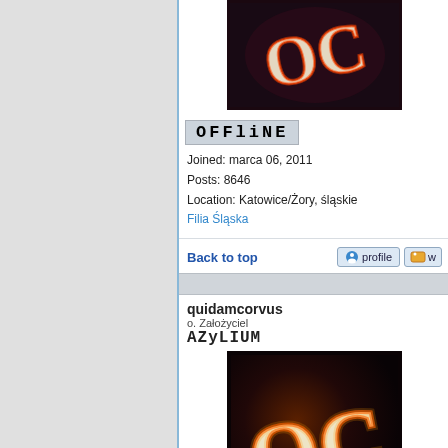[Figure (photo): Dark avatar image with stylized 'OC' letters in fiery/glowing style against dark background]
OFFliNE
Joined: marca 06, 2011
Posts: 8646
Location: Katowice/Żory, śląskie
Filia Śląska
Back to top
quidamcorvus
o. Założyciel
AZyLIUM
Post subject: Re: R
Posted: Cz kwiet 25,
[Figure (photo): Dark avatar image with stylized 'OC' letters in fiery/glowing style against dark background, larger version]